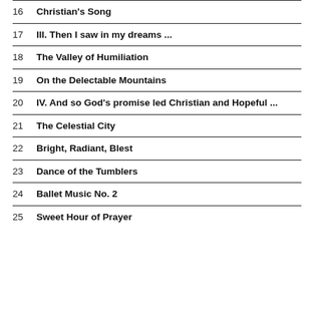16   Christian's Song
17   III. Then I saw in my dreams ...
18   The Valley of Humiliation
19   On the Delectable Mountains
20   IV. And so God's promise led Christian and Hopeful ...
21   The Celestial City
22   Bright, Radiant, Blest
23   Dance of the Tumblers
24   Ballet Music No. 2
25   Sweet Hour of Prayer